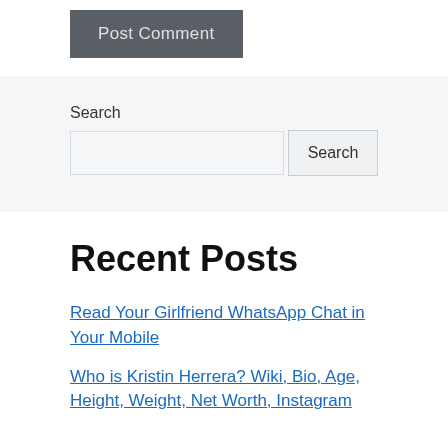Post Comment
Search
Search
Recent Posts
Read Your Girlfriend WhatsApp Chat in Your Mobile
Who is Kristin Herrera? Wiki, Bio, Age, Height, Weight, Net Worth, Instagram